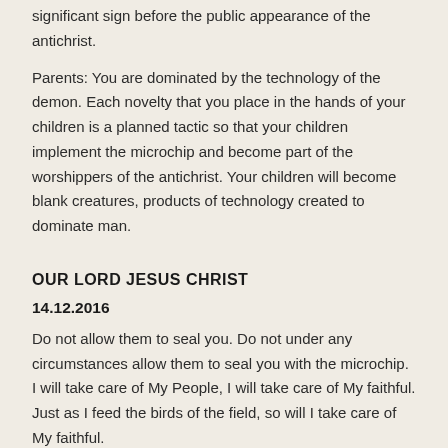significant sign before the public appearance of the antichrist.
Parents: You are dominated by the technology of the demon. Each novelty that you place in the hands of your children is a planned tactic so that your children implement the microchip and become part of the worshippers of the antichrist. Your children will become blank creatures, products of technology created to dominate man.
OUR LORD JESUS CHRIST
14.12.2016
Do not allow them to seal you. Do not under any circumstances allow them to seal you with the microchip. I will take care of My People, I will take care of My faithful. Just as I feed the birds of the field, so will I take care of My faithful.